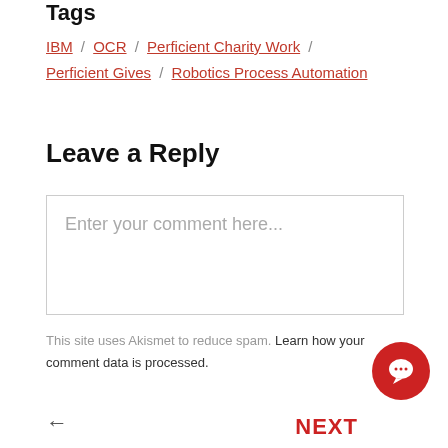Tags
IBM / OCR / Perficient Charity Work / Perficient Gives / Robotics Process Automation
Leave a Reply
Enter your comment here...
This site uses Akismet to reduce spam. Learn how your comment data is processed.
[Figure (other): Red circular chat bubble icon button in bottom right corner]
← NEXT